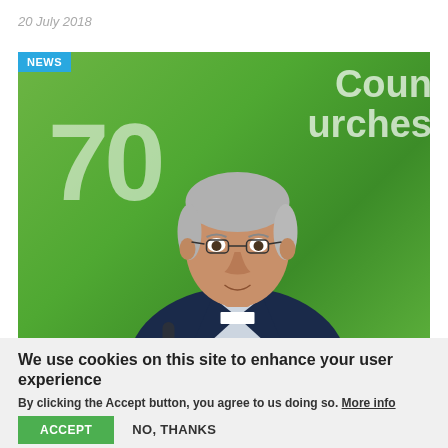20 July 2018
[Figure (photo): A man in a dark suit with glasses and clerical collar speaking at a World Council of Churches 70th anniversary event, green background with WCC logo]
We use cookies on this site to enhance your user experience
By clicking the Accept button, you agree to us doing so. More info
ACCEPT
NO, THANKS